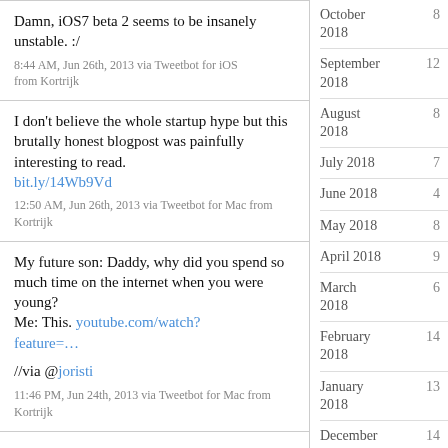Damn, iOS7 beta 2 seems to be insanely unstable. :/
8:44 AM, Jun 26th, 2013 via Tweetbot for iOS from Kortrijk
I don't believe the whole startup hype but this brutally honest blogpost was painfully interesting to read. bit.ly/14Wb9Vd
12:50 AM, Jun 26th, 2013 via Tweetbot for Mac from Kortrijk
My future son: Daddy, why did you spend so much time on the internet when you were young?
Me: This. youtube.com/watch?feature=…
//via @joristi
11:46 PM, Jun 24th, 2013 via Tweetbot for Mac from Kortrijk
October 2018 8
September 2018 12
August 2018 8
July 2018 7
June 2018 4
May 2018 8
April 2018 9
March 2018 6
February 2018 14
January 2018 13
December 2017 14
November 2017 7